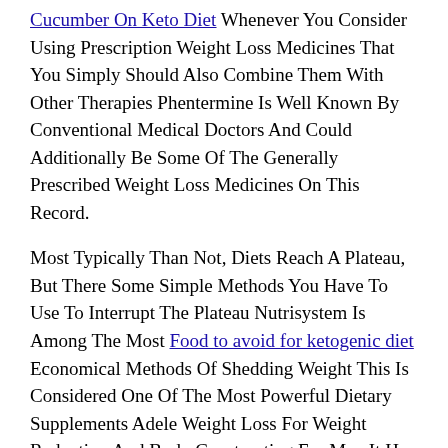Cucumber On Keto Diet Whenever You Consider Using Prescription Weight Loss Medicines That You Simply Should Also Combine Them With Other Therapies Phentermine Is Well Known By Conventional Medical Doctors And Could Additionally Be Some Of The Generally Prescribed Weight Loss Medicines On This Record.
Most Typically Than Not, Diets Reach A Plateau, But There Some Simple Methods You Have To Use To Interrupt The Plateau Nutrisystem Is Among The Most Food to avoid for ketogenic diet Economical Methods Of Shedding Weight This Is Considered One Of The Most Powerful Dietary Supplements Adele Weight Loss For Weight Reduction And Body Constructing For Men It Has Been Proven To Extend Physique Metabolism, Enhance Physical Power